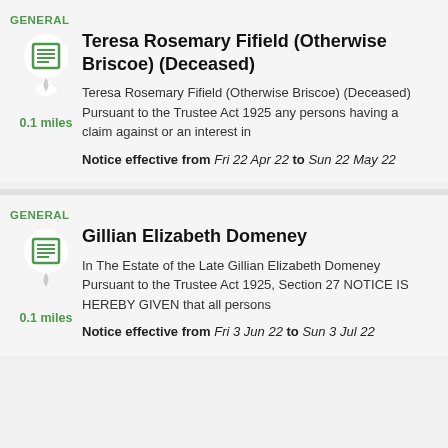GENERAL
Teresa Rosemary Fifield (Otherwise Briscoe) (Deceased)
Teresa Rosemary Fifield (Otherwise Briscoe) (Deceased) Pursuant to the Trustee Act 1925 any persons having a claim against or an interest in
Notice effective from Fri 22 Apr 22 to Sun 22 May 22
0.1 miles
GENERAL
Gillian Elizabeth Domeney
In The Estate of the Late Gillian Elizabeth Domeney Pursuant to the Trustee Act 1925, Section 27 NOTICE IS HEREBY GIVEN that all persons
Notice effective from Fri 3 Jun 22 to Sun 3 Jul 22
0.1 miles